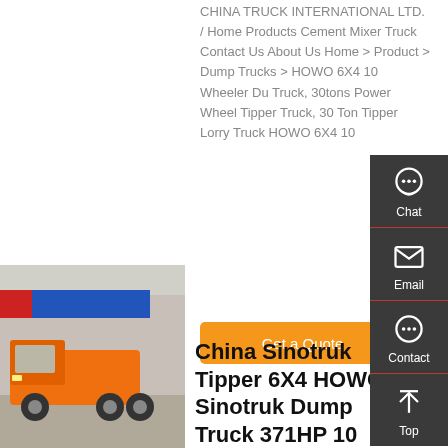CHINA TRUCK INTERNATIONAL LTD. / Home Products Cement Mixer Truck Contact Us About Us Home > Product > Dump Trucks > HOWO 6X4 10 Wheeler Dump Truck, 30tons Power Wheel Tipper Truck, 30 Ton Tipper Lorry Truck HOWO 6X4 10
[Figure (screenshot): Sidebar with Chat, Email, Contact, Top navigation buttons on dark gray background]
[Figure (photo): Orange SINOTRUK HOWO truck parked in front of a dealership with blue signage]
China Sinotruk Tipper 6X4 HOWO Sinotruk Dump Truck 371HP 10